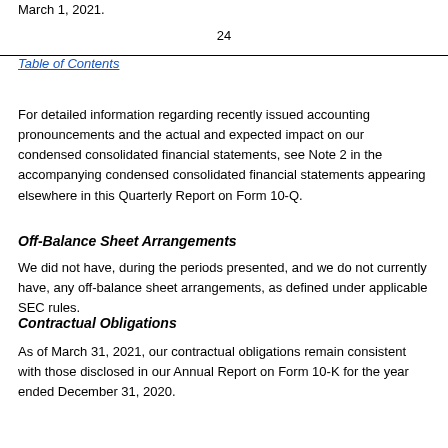March 1, 2021.
24
Table of Contents
For detailed information regarding recently issued accounting pronouncements and the actual and expected impact on our condensed consolidated financial statements, see Note 2 in the accompanying condensed consolidated financial statements appearing elsewhere in this Quarterly Report on Form 10-Q.
Off-Balance Sheet Arrangements
We did not have, during the periods presented, and we do not currently have, any off-balance sheet arrangements, as defined under applicable SEC rules.
Contractual Obligations
As of March 31, 2021, our contractual obligations remain consistent with those disclosed in our Annual Report on Form 10-K for the year ended December 31, 2020.